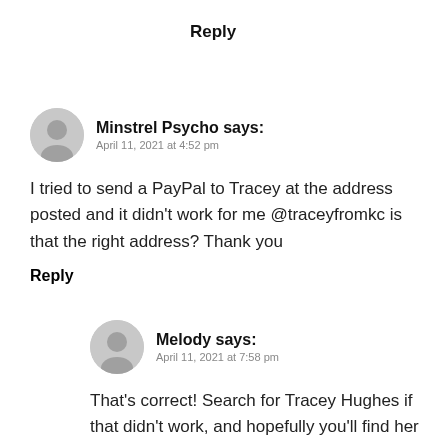Reply
[Figure (illustration): Grey circular user avatar icon for Minstrel Psycho]
Minstrel Psycho says:
April 11, 2021 at 4:52 pm
I tried to send a PayPal to Tracey at the address posted and it didn't work for me @traceyfromkc is that the right address? Thank you
Reply
[Figure (illustration): Grey circular user avatar icon for Melody]
Melody says:
April 11, 2021 at 7:58 pm
That's correct! Search for Tracey Hughes if that didn't work, and hopefully you'll find her